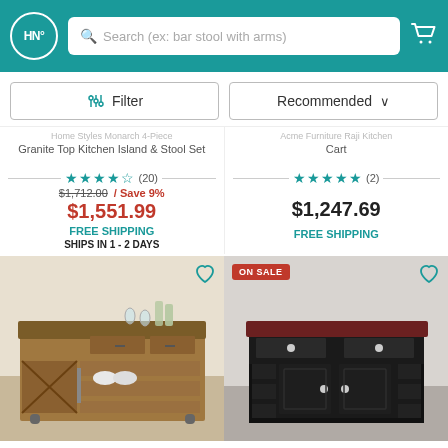HN Search (ex: bar stool with arms)
Filter | Recommended
Home Styles Monarch 4-Piece Granite Top Kitchen Island & Stool Set
Acme Furniture Raji Kitchen Cart
★★★★½ (20) $1,712.00 / Save 9% $1,551.99 FREE SHIPPING SHIPS IN 1 - 2 DAYS
★★★★★ (2) $1,247.69 FREE SHIPPING
[Figure (photo): Rustic wood kitchen island with X-panel doors and open shelves]
[Figure (photo): Black kitchen island with cherry wood top and two cabinet doors with ON SALE badge]